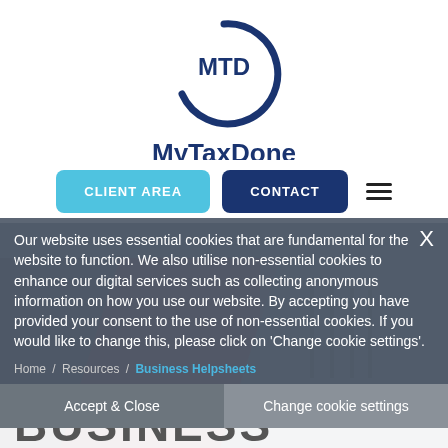[Figure (logo): MTD circle logo with text MyTaxDone below in dark navy blue]
CLIENT AREA  CONTACT
Our website uses essential cookies that are fundamental for the website to function. We also utilise non-essential cookies to enhance our digital services such as collecting anonymous information on how you use our website. By accepting you have provided your consent to the use of non-essential cookies. If you would like to change this, please click on 'Change cookie settings'.
Home / Resources / Business Helpsheets
Accept & Close
Change cookie settings
BUSINESS